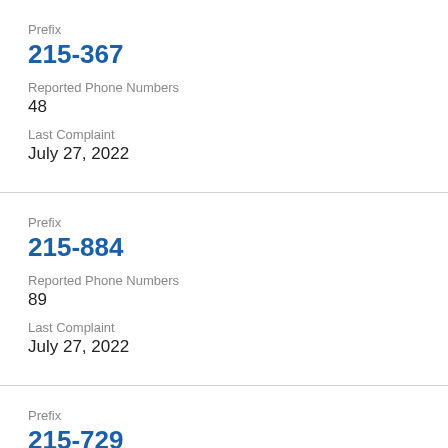Prefix
215-367
Reported Phone Numbers
48
Last Complaint
July 27, 2022
Prefix
215-884
Reported Phone Numbers
89
Last Complaint
July 27, 2022
Prefix
215-729